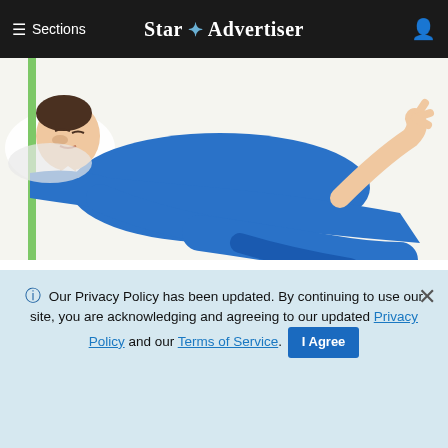≡ Sections  Star ✦ Advertiser
[Figure (illustration): Illustration of a person in a blue suit lying down, appearing fatigued or ill, depicting symptoms of Multiple Sclerosis]
Critical Signs of Multiple Sclerosis (MS) Many May Not Want To Miss
MS | Search Ads | Sponsored
< PREVIOUS STORY
Man, 72, accused of abusing 50-year-old girlfriend
ADVERTISEMENT
ℹ Our Privacy Policy has been updated. By continuing to use our site, you are acknowledging and agreeing to our updated Privacy Policy and our Terms of Service. I Agree